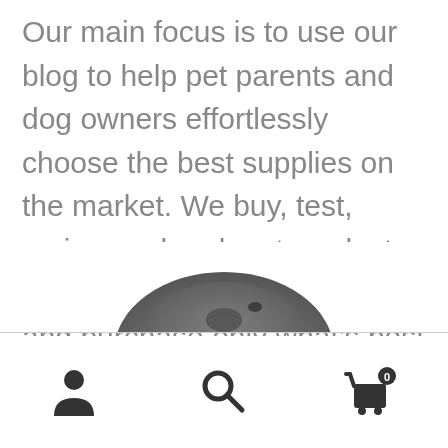Our main focus is to use our blog to help pet parents and dog owners effortlessly choose the best supplies on the market. We buy, test, review and rank pet products to help you avoid the bad stuff and purchase only what's best for your pooch or beloved cat. In other words, we do hours of research, so you don't have to!
[Figure (photo): Top of a dog's head visible at the bottom of the content area, partially cropped]
Navigation bar with user icon, search icon, and shopping cart icon with badge showing 0